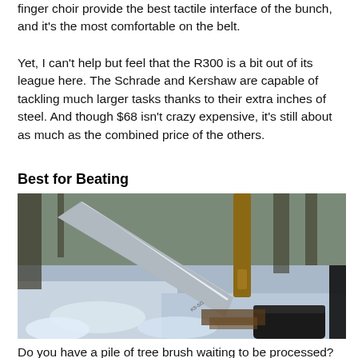finger choir provide the best tactile interface of the bunch, and it's the most comfortable on the belt.
Yet, I can't help but feel that the R300 is a bit out of its league here. The Schrade and Kershaw are capable of tackling much larger tasks thanks to their extra inches of steel. And though $68 isn't crazy expensive, it's still about as much as the combined price of the others.
Best for Beating
[Figure (photo): A large knife/machete with a dark handle photographed outdoors in a snowy, wooded environment with bare branches and snow-covered ground visible in the background.]
Do you have a pile of tree brush waiting to be processed?